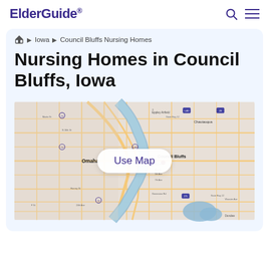ElderGuide®
🏠 ▶ Iowa ▶ Council Bluffs Nursing Homes
Nursing Homes in Council Bluffs, Iowa
[Figure (map): Map showing Council Bluffs, Iowa and surrounding Omaha, Nebraska area with streets and waterways visible. A 'Use Map' button overlay appears in the center.]